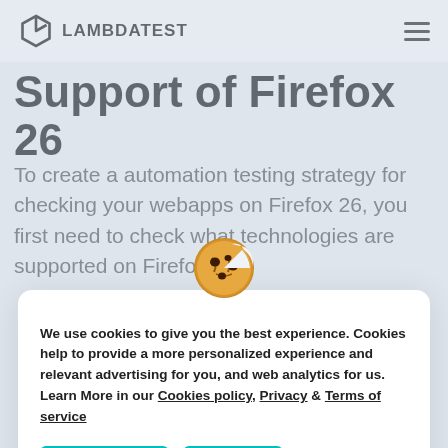LAMBDATEST
Support of Firefox 26
To create a automation testing strategy for checking your webapps on Firefox 26, you first need to check what technologies are supported on Firefox...
We use cookies to give you the best experience. Cookies help to provide a more personalized experience and relevant advertising for you, and web analytics for us. Learn More in our Cookies policy, Privacy & Terms of service
Allow Cookie | Cancel